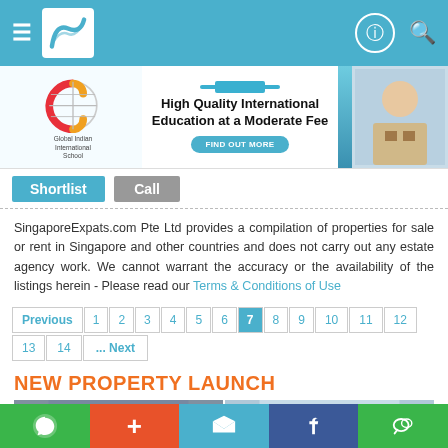[Figure (screenshot): Top navigation bar with hamburger menu, logo, and icons on teal/blue background]
[Figure (illustration): Advertisement banner: Global Indian International School — High Quality International Education at a Moderate Fee, with Find Out More button]
Shortlist   Call
SingaporeExpats.com Pte Ltd provides a compilation of properties for sale or rent in Singapore and other countries and does not carry out any estate agency work. We cannot warrant the accuracy or the availability of the listings herein - Please read our Terms & Conditions of Use
Previous 1 2 3 4 5 6 7 8 9 10 11 12 13 14 ... Next
NEW PROPERTY LAUNCH
[Figure (photo): Property images strip showing apartment buildings]
[Figure (illustration): Bottom social share bar with WhatsApp, Plus, Twitter, Facebook, WeChat icons]